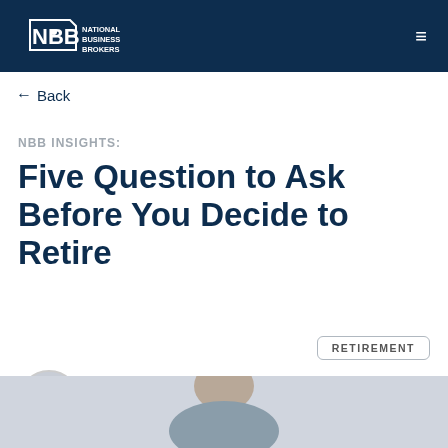NBB National Business Brokers
← Back
NBB INSIGHTS:
Five Question to Ask Before You Decide to Retire
RETIREMENT
by Brady Schmidt
[Figure (photo): Partial photo of a person at the bottom of the page]